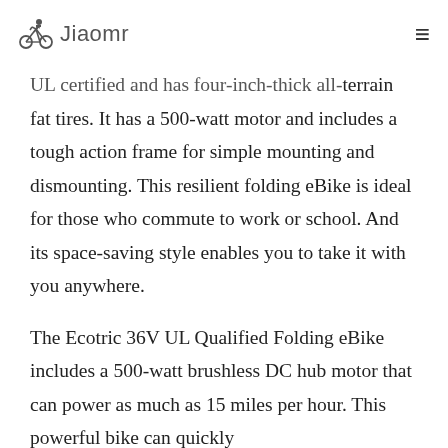Jiaomr
UL certified and has four-inch-thick all-terrain fat tires. It has a 500-watt motor and includes a tough action frame for simple mounting and dismounting. This resilient folding eBike is ideal for those who commute to work or school. And its space-saving style enables you to take it with you anywhere.
The Ecotric 36V UL Qualified Folding eBike includes a 500-watt brushless DC hub motor that can power as much as 15 miles per hour. This powerful bike can quickly